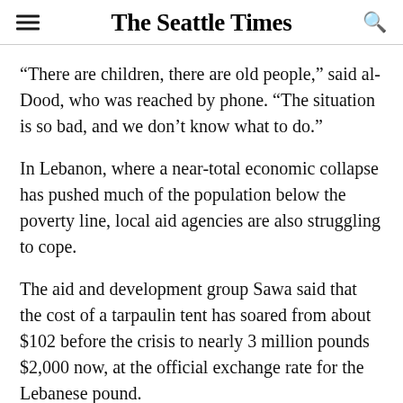The Seattle Times
“There are children, there are old people,” said al-Dood, who was reached by phone. “The situation is so bad, and we don’t know what to do.”
In Lebanon, where a near-total economic collapse has pushed much of the population below the poverty line, local aid agencies are also struggling to cope.
The aid and development group Sawa said that the cost of a tarpaulin tent has soared from about $102 before the crisis to nearly 3 million pounds $2,000 now, at the official exchange rate for the Lebanese pound.